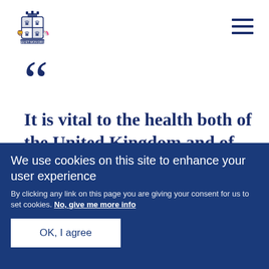[Figure (logo): UK Government coat of arms logo in dark navy blue]
It is vital to the health both of the United Kingdom and of Wales that transaction...
We use cookies on this site to enhance your user experience
By clicking any link on this page you are giving your consent for us to set cookies. No, give me more info
OK, I agree